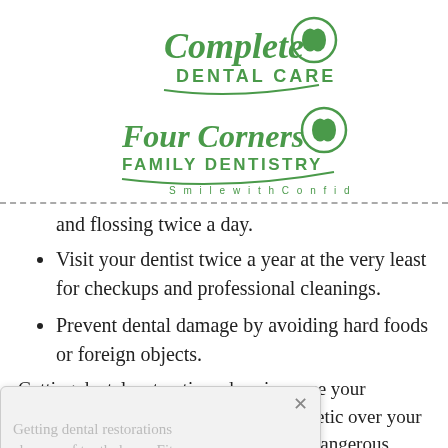[Figure (logo): Complete Dental Care logo with stylized script text and tooth icon in green]
[Figure (logo): Four Corners Family Dentistry logo with script text, tooth icon, and tagline 'Smile with Confidence' in green]
and flossing twice a day.
Visit your dentist twice a year at the very least for checkups and professional cleanings.
Prevent dental damage by avoiding hard foods or foreign objects.
Getting dental restorations does increase your chances of tooth decay. Fitting a prosthetic over your natural teeth creates a new crevice for dangerous bacteria to build up under. If the supporting teeth holding your bridge in place fail, so will your dental
[Figure (screenshot): Popup overlay with close X button, dimmed background text, and a green 'See Our Smiles' button]